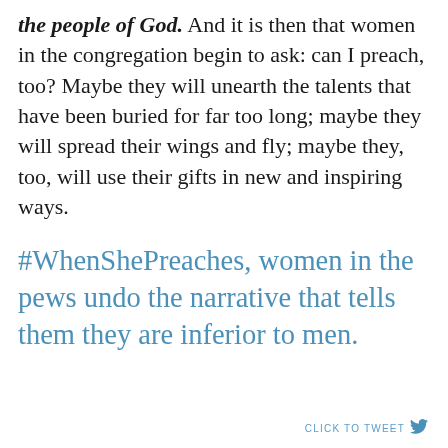the people of God. And it is then that women in the congregation begin to ask: can I preach, too? Maybe they will unearth the talents that have been buried for far too long; maybe they will spread their wings and fly; maybe they, too, will use their gifts in new and inspiring ways.
#WhenShePreaches, women in the pews undo the narrative that tells them they are inferior to men.